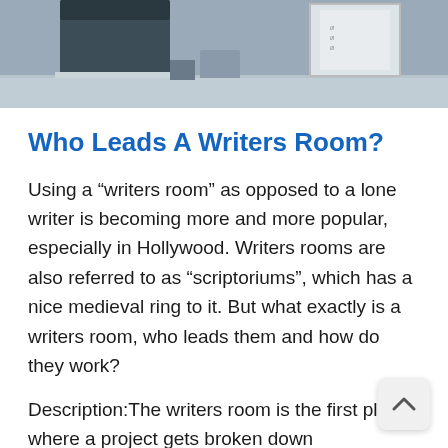[Figure (photo): A photo showing a person in a dark jacket standing near a desk with equipment, whiteboards or notes visible in the background.]
Who Leads A Writers Room?
Using a “writers room” as opposed to a lone writer is becoming more and more popular, especially in Hollywood. Writers rooms are also referred to as “scriptoriums”, which has a nice medieval ring to it. But what exactly is a writers room, who leads them and how do they work?
Description:The writers room is the first place where a project gets broken down